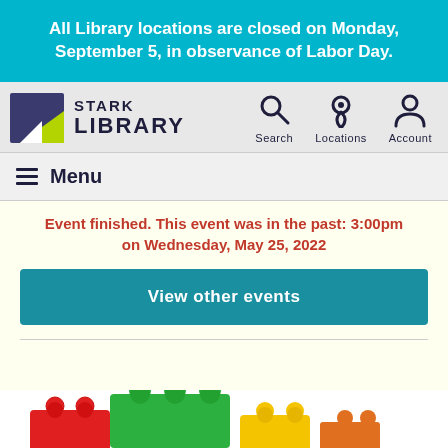All Library locations are closed on Monday, September 5, in observance of Labor Day.
[Figure (logo): Stark Library logo with purple/green icon and nav icons for Search, Locations, Account]
Menu
Event finished. This event was in the past: 3:00pm on Wednesday, May 25, 2022
View other events
[Figure (photo): Colorful LEGO bricks including red, green, and yellow pieces]